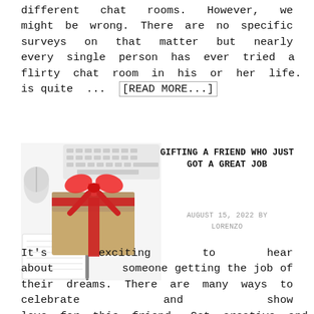different chat rooms. However, we might be wrong. There are no specific surveys on that matter but nearly every single person has ever tried a flirty chat room in his or her life. This is quite ... [READ MORE...]
[Figure (photo): A wrapped gift box with a large red ribbon bow, placed on a white desk surface with a keyboard, mouse, notepad, and pen visible in the background]
GIFTING A FRIEND WHO JUST GOT A GREAT JOB
AUGUST 15, 2022 BY LORENZO
It's exciting to hear about someone getting the job of their dreams. There are many ways to celebrate and show love for this friend. Get creative and think about what you can do to support them, from an impromptu lunch at your favorite cafe to a going-away party